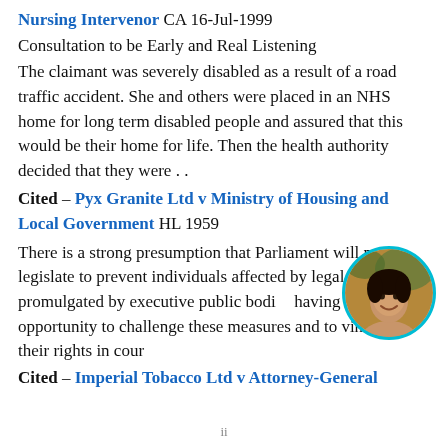Nursing Intervenor CA 16-Jul-1999
Consultation to be Early and Real Listening
The claimant was severely disabled as a result of a road traffic accident. She and others were placed in an NHS home for long term disabled people and assured that this would be their home for life. Then the health authority decided that they were . .
Cited – Pyx Granite Ltd v Ministry of Housing and Local Government HL 1959
There is a strong presumption that Parliament will not legislate to prevent individuals affected by legal measures promulgated by executive public bodies having a fair opportunity to challenge these measures and to vindicate their rights in court.
Cited – Imperial Tobacco Ltd v Attorney-General